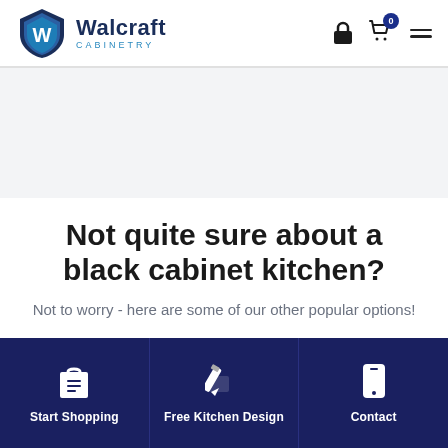[Figure (logo): Walcraft Cabinetry logo with shield icon containing W, company name in dark navy and CABINETRY in blue]
Not quite sure about a black cabinet kitchen?
Not to worry - here are some of our other popular options!
Start Shopping | Free Kitchen Design | Contact